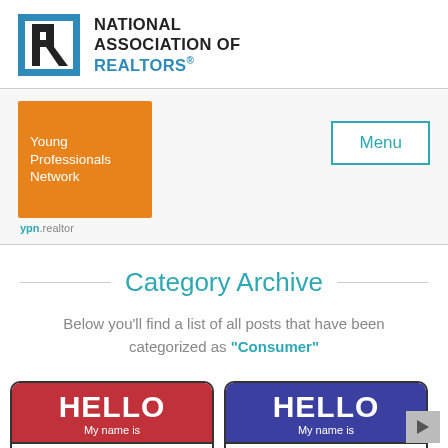[Figure (logo): National Association of Realtors logo with blue stylized R icon and text 'NATIONAL ASSOCIATION OF REALTORS®']
[Figure (logo): Young Professionals Network logo - orange square with white text 'Young Professionals Network' and 'ypn.realtor' below]
Menu
Category Archive
Below you'll find a list of all posts that have been categorized as "Consumer"
[Figure (illustration): Two 'Hello My name is' name tag stickers side by side - one red and one blue, both empty]
[Figure (other): Scroll right arrow button]